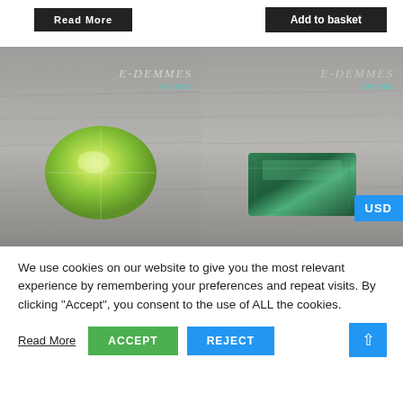[Figure (screenshot): Top bar with 'Read More' dark button on left and 'Add to basket' dark button on right]
[Figure (photo): Two gemstone product photos side by side. Left: light green oval faceted gemstone on grey wood background with E-DEMMES watermark. Right: dark green rectangular emerald-cut gemstone on grey wood background with E-DEMMES watermark. USD badge on right side.]
We use cookies on our website to give you the most relevant experience by remembering your preferences and repeat visits. By clicking "Accept", you consent to the use of ALL the cookies.
Read More  ACCEPT  REJECT